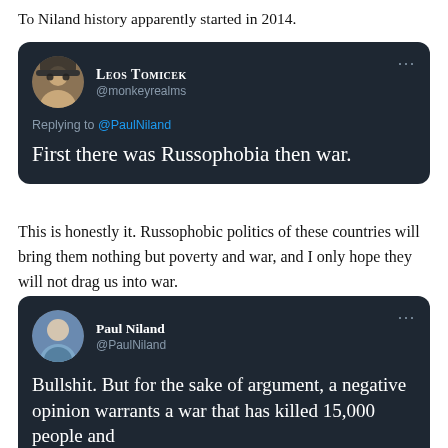To Niland history apparently started in 2014.
[Figure (screenshot): Tweet by Leos Tomicek (@monkeyrealms) replying to @PaulNiland: 'First there was Russophobia then war.']
This is honestly it. Russophobic politics of these countries will bring them nothing but poverty and war, and I only hope they will not drag us into war.
[Figure (screenshot): Tweet by Paul Niland (@PaulNiland): 'Bullshit. But for the sake of argument, a negative opinion warrants a war that has killed 15,000 people and']